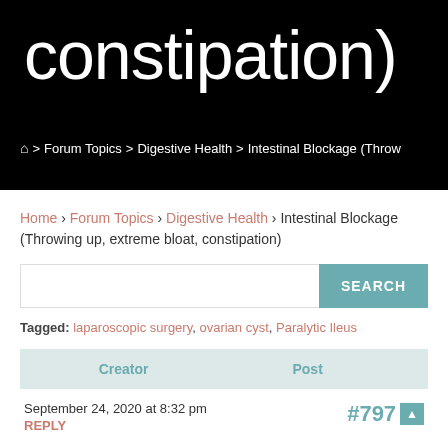constipation)
⌂ > Forum Topics > Digestive Health > Intestinal Blockage (Throw
Home › Forum Topics › Digestive Health › Intestinal Blockage (Throwing up, extreme bloat, constipation)
SEARCH
Tagged: laparoscopic surgery, ovarian cyst, Paralytic Ileus
| Creator | Post |
| --- | --- |
September 24, 2020 at 8:32 pm
REPLY
#797